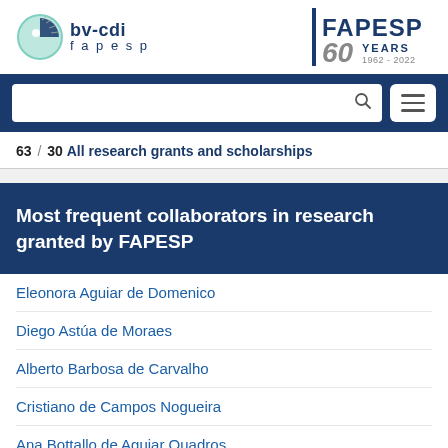[Figure (logo): bv-cdi fapesp logo on the left and FAPESP 60 YEARS 1962-2022 logo on the right]
[Figure (screenshot): Search bar with magnifying glass icon and hamburger menu button on dark blue background]
63 / 30  All research grants and scholarships
Most frequent collaborators in research granted by FAPESP
Eleonora Aguiar de Domenico
Diego Astúa de Moraes
Alberto Barbosa de Carvalho
Cristiano de Campos Nogueira
Ana Bottallo de Aguiar Quadros
Daniella Pereira Fagundes de França
Ernesto Aranda Pedroso